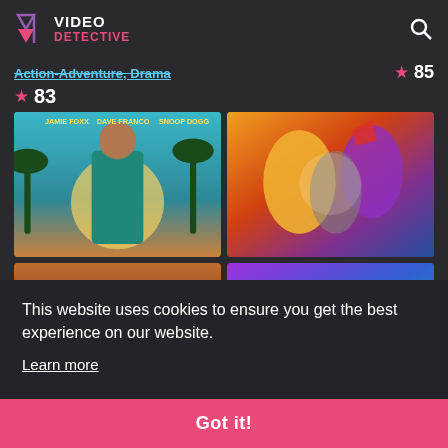Video Detective
Action-Adventure, Drama
85
83
[Figure (photo): Movie poster for Day Shift featuring Jamie Foxx, Dave Franco, and Snoop Dogg. A man in a teal Hawaiian shirt stands against a background with palm trees and a large sun.]
[Figure (photo): Dragon Ball Super: Super animated scene showing colorful characters in a dynamic action pose with purple and gold tones.]
This website uses cookies to ensure you get the best experience on our website.
Learn more
Got it!
Day Shift
Dragon Ball Super: Su...